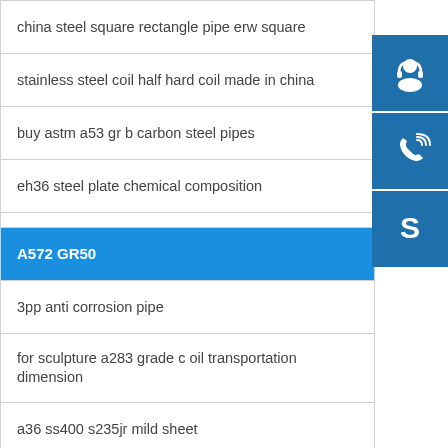china steel square rectangle pipe erw square
stainless steel coil half hard coil made in china
buy astm a53 gr b carbon steel pipes
eh36 steel plate chemical composition
A572 GR50
3pp anti corrosion pipe
for sculpture a283 grade c oil transportation dimension
a36 ss400 s235jr mild sheet
[Figure (infographic): Three blue sidebar icons: headset/customer service icon, phone with signal waves icon, and Skype 'S' logo icon]